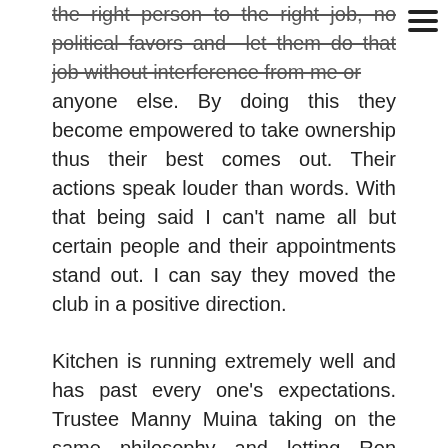the right person to the right job, no political favors and let them do that job without interference from me or anyone else. By doing this they become empowered to take ownership thus their best comes out. Their actions speak louder than words. With that being said I can't name all but certain people and their appointments stand out. I can say they moved the club in a positive direction.
Kitchen is running extremely well and has past every one's expectations. Trustee Manny Muina taking on the same philosophy and letting Ron Heinzman run with it. I cannot say enough about Ron. Thank you both.
Another right person for the right job is trustee Rainer Mullering in charge of Beach, Grounds and also building maintenance. Again, having the same philosophy has put members of the club in charge and left them alone to do their job. With Rainer and his team and their out of the